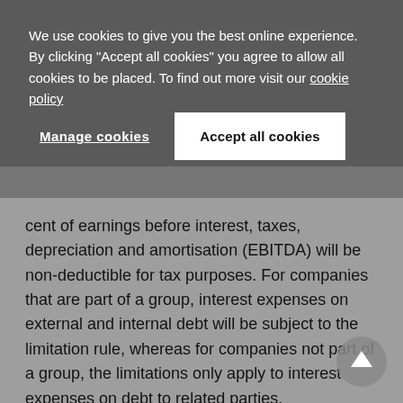We use cookies to give you the best online experience. By clicking "Accept all cookies" you agree to allow all cookies to be placed. To find out more visit our cookie policy
Manage cookies
Accept all cookies
cent of earnings before interest, taxes, depreciation and amortisation (EBITDA) will be non-deductible for tax purposes. For companies that are part of a group, interest expenses on external and internal debt will be subject to the limitation rule, whereas for companies not part of a group, the limitations only apply to interest expenses on debt to related parties.
For companies that are part of a group, there